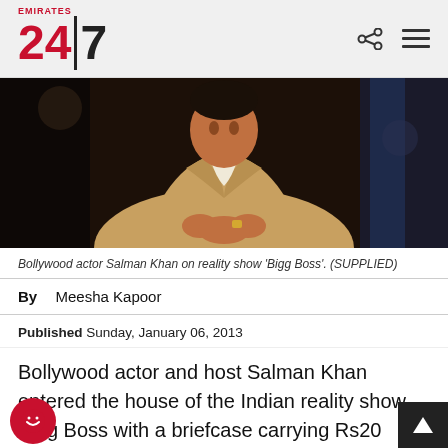Emirates 24|7
[Figure (photo): Bollywood actor Salman Khan on reality show Bigg Boss, wearing a beige suit, hands clasped, dark studio background]
Bollywood actor Salman Khan on reality show 'Bigg Boss'. (SUPPLIED)
By Meesha Kapoor
Published Sunday, January 06, 2013
Bollywood actor and host Salman Khan entered the house of the Indian reality show Bigg Boss with a briefcase carrying Rs20 lakhs (Dh135,185). The contestants were given the option to take the money and quit.